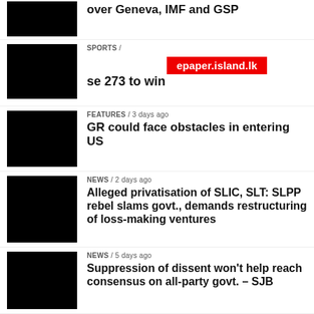[Figure (photo): Black thumbnail image - partial article top]
over Geneva, IMF and GSP
[Figure (photo): Black thumbnail image - sports article]
SPORTS / watermark: epaper.island.lk / se 273 to win
[Figure (photo): Black thumbnail image - features article]
FEATURES / 3 days ago
GR could face obstacles in entering US
[Figure (photo): Black thumbnail image - news article 1]
NEWS / 2 days ago
Alleged privatisation of SLIC, SLT: SLPP rebel slams govt., demands restructuring of loss-making ventures
[Figure (photo): Black thumbnail image - news article 2]
NEWS / 5 days ago
Suppression of dissent won't help reach consensus on all-party govt. – SJB
[Figure (photo): Black thumbnail image - sports article 2]
SPORTS / 2 days ago